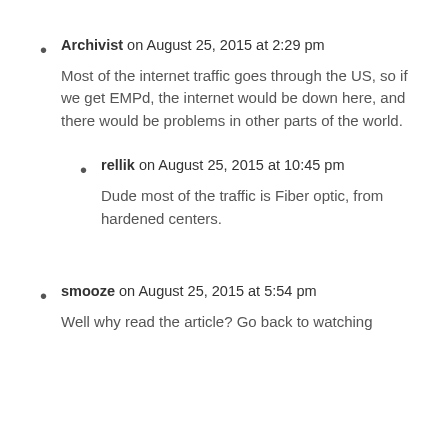Archivist on August 25, 2015 at 2:29 pm
Most of the internet traffic goes through the US, so if we get EMPd, the internet would be down here, and there would be problems in other parts of the world.
rellik on August 25, 2015 at 10:45 pm
Dude most of the traffic is Fiber optic, from hardened centers.
smooze on August 25, 2015 at 5:54 pm
Well why read the article? Go back to watching